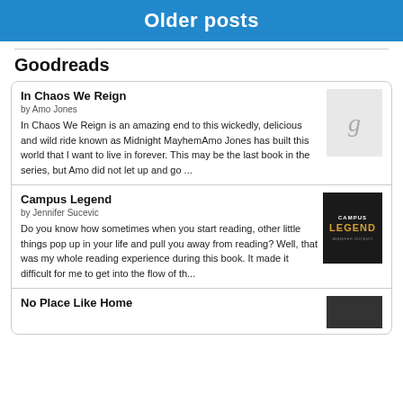Older posts
Goodreads
In Chaos We Reign
by Amo Jones
In Chaos We Reign is an amazing end to this wickedly, delicious and wild ride known as Midnight Mayhem⁠Amo Jones has built this world that I want to live in forever. This may be the last book in the series, but Amo did not let up and go ...
Campus Legend
by Jennifer Sucevic
Do you know how sometimes when you start reading, other little things pop up in your life and pull you away from reading? Well, that was my whole reading experience during this book. It made it difficult for me to get into the flow of th...
No Place Like Home